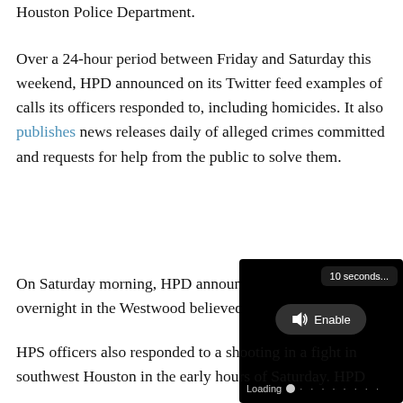Houston Police Department.
Over a 24-hour period between Friday and Saturday this weekend, HPD announced on its Twitter feed examples of calls its officers responded to, including homicides. It also publishes news releases daily of alleged crimes committed and requests for help from the public to solve them.
On Saturday morning, HPD announced a man shot overnight in the Westwood believed to have been in his v
[Figure (screenshot): Video player overlay showing '10 seconds...' toast notification at top right, an 'Enable' button with speaker icon in the center, and a 'Loading' progress bar at the bottom, all on a black background.]
HPS officers also responded to a shooting in a fight in southwest Houston in the early hours of Saturday. HPD